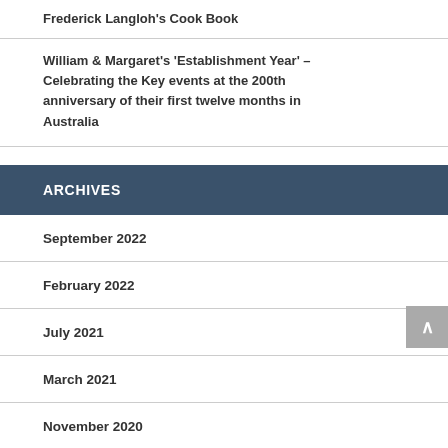Frederick Langloh's Cook Book
William & Margaret's 'Establishment Year' – Celebrating the Key events at the 200th anniversary of their first twelve months in Australia
ARCHIVES
September 2022
February 2022
July 2021
March 2021
November 2020